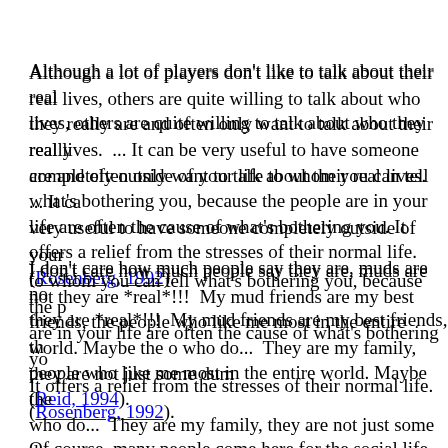Although a lot of players don't like to talk about their real lives, others are quite willing to talk about who they really are and often only want to talk about their real lives.  ... It can be very useful to have someone completely outside of your life to whom you can tell what's bothering you, because the people are in your life are often the cause of what's bothering you. It offers a relief from the stresses of their normal life. (Rosenberg, 1992).
I don't care how much people say they are, muds are not fake, they are *real*!!!  My mud friends are my best friends, the people who like me most in the entire world. Maybe the only who do...  They are my family, they are not just some dumb (Reid, 1994).
Of course, many people come here for the social life as well. interesting to note the changes in people's lives as time goes and I've been here long enough to see people's live change a bit. (Sempsey, 1997, p. 198).
In addition to these testimonials and observations, there is evidence to suggest that MUD environments indeed promote the types of social climates that are positively associated with established and s...